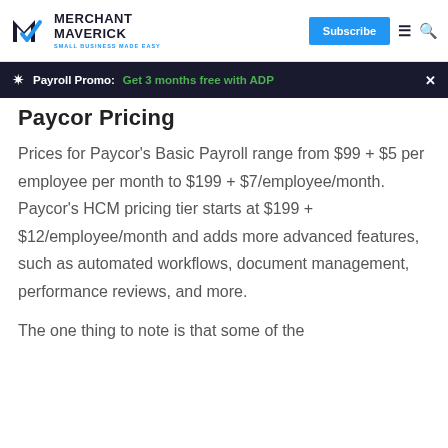MERCHANT MAVERICK — SMALL BUSINESS MADE EASY | Subscribe
Payroll Promo: Get 3 months free with ADP
Paycor Pricing
Prices for Paycor's Basic Payroll range from $99 + $5 per employee per month to $199 + $7/employee/month. Paycor's HCM pricing tier starts at $199 + $12/employee/month and adds more advanced features, such as automated workflows, document management, performance reviews, and more.
The one thing to note is that some of the